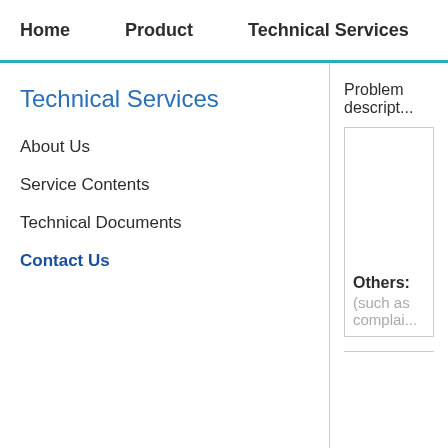Home   Product   Technical Services   Ch...
Technical Services
About Us
Service Contents
Technical Documents
Contact Us
Problem descript...
Others:
(such as complai...